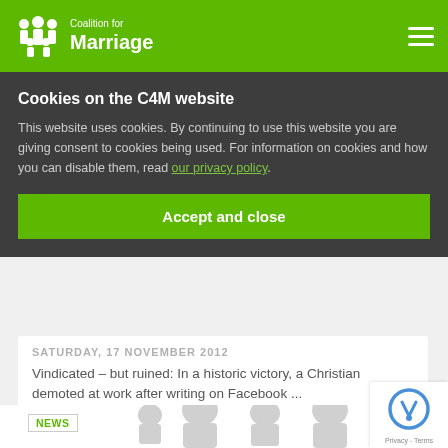Coalition for Marriage
Cookies on the C4M website
This website uses cookies. By continuing to use this website you are giving consent to cookies being used. For information on cookies and how you can disable them, read our privacy policy.
Accept and close
SATURDAY, 17 NOVEMBER 2012
Vindicated – but ruined: In a historic victory, a Christian demoted at work after writing on Facebook ...
Nov 17, 2012 | Read Post
NEWS